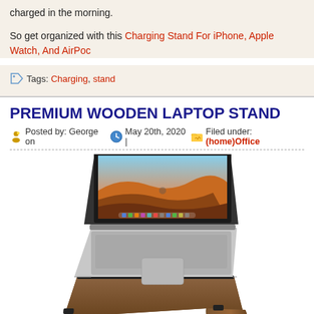charged in the morning.
So get organized with this Charging Stand For iPhone, Apple Watch, And AirPod...
Tags: Charging, stand
PREMIUM WOODEN LAPTOP STAND
Posted by: George on May 20th, 2020 | Filed under: (home)Office
[Figure (photo): A MacBook laptop resting on a premium wooden laptop stand. The stand is made of walnut-colored wood with a minimalist arch design. The laptop screen shows a macOS Mojave desert wallpaper.]